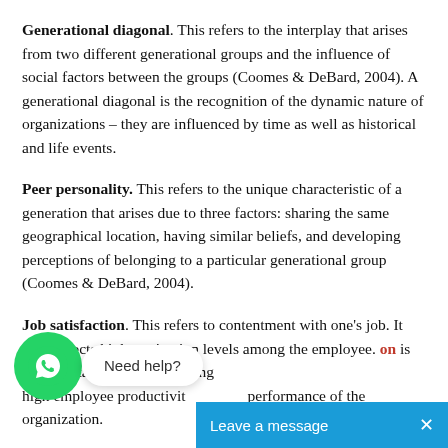Generational diagonal. This refers to the interplay that arises from two different generational groups and the influence of social factors between the groups (Coomes & DeBard, 2004). A generational diagonal is the recognition of the dynamic nature of organizations – they are influenced by time as well as historical and life events.
Peer personality. This refers to the unique characteristic of a generation that arises due to three factors: sharing the same geographical location, having similar beliefs, and developing perceptions of belonging to a particular generational group (Coomes & DeBard, 2004).
Job satisfaction. This refers to contentment with one's job. It also reflects high motivation levels among the employee. [Job satisfaction] is an important factor in ensuring high employee productivity and overall performance of the organization.